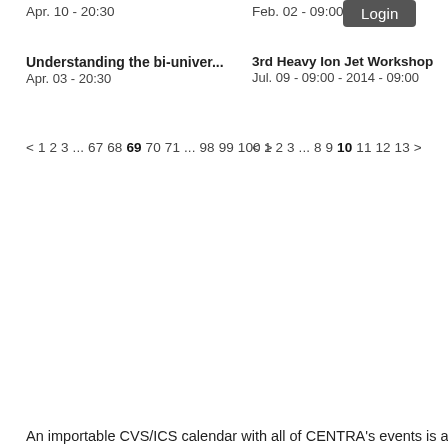Apr. 10 - 20:30
Feb. 02 - 09:00
Login
Understanding the bi-univer...
Apr. 03 - 20:30
3rd Heavy Ion Jet Workshop
Jul. 09 - 09:00 - 2014 - 09:00
< 1 2 3 ... 67 68 69 70 71 ... 98 99 100 >
< 1 2 3 ... 8 9 10 11 12 13 >
An importable CVS/ICS calendar with all of CENTRA's events is avail